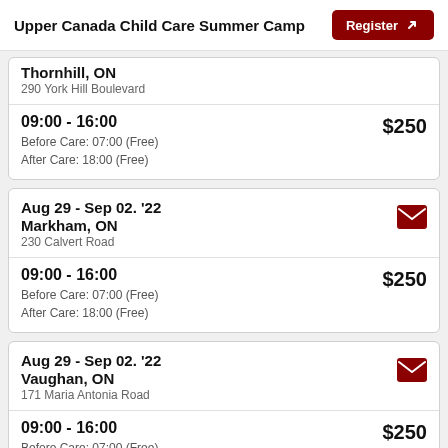Upper Canada Child Care Summer Camp  Register
Thornhill, ON
290 York Hill Boulevard
09:00 - 16:00  $250
Before Care: 07:00 (Free)
After Care: 18:00 (Free)
Aug 29 - Sep 02. '22
Markham, ON
230 Calvert Road
09:00 - 16:00  $250
Before Care: 07:00 (Free)
After Care: 18:00 (Free)
Aug 29 - Sep 02. '22
Vaughan, ON
171 Maria Antonia Road
09:00 - 16:00  $250
Before Care: 07:00 (Free)
After Care: 18:00 (Free)